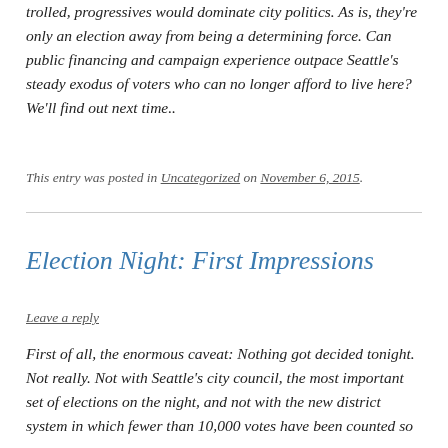trolled, progressives would dominate city politics. As is, they're only an election away from being a determining force. Can public financing and campaign experience outpace Seattle's steady exodus of voters who can no longer afford to live here? We'll find out next time..
This entry was posted in Uncategorized on November 6, 2015.
Election Night: First Impressions
Leave a reply
First of all, the enormous caveat: Nothing got decided tonight. Not really. Not with Seattle's city council, the most important set of elections on the night, and not with the new district system in which fewer than 10,000 votes have been counted so